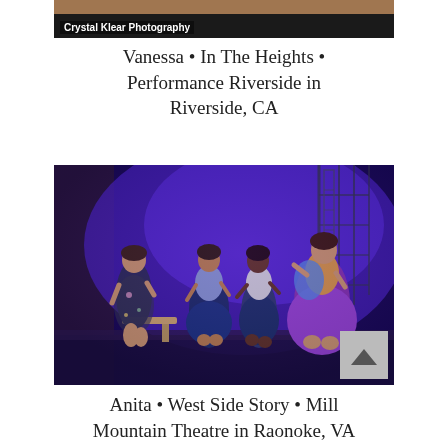[Figure (photo): Top strip of a photo showing a person's torso/skin, with 'Crystal Klear Photography' watermark label in white text on dark background]
Vanessa • In The Heights • Performance Riverside in Riverside, CA
[Figure (photo): Stage production photo of four women dancing/performing on a purple-lit stage. One woman in a floral dress sits on a bench at left; three others dance in colorful skirts in the center and right. Blue/purple stage lighting with scaffolding set pieces visible in background. A scroll-to-top button (grey with upward chevron) overlaps the bottom right corner.]
Anita • West Side Story • Mill Mountain Theatre in Raonoke, VA